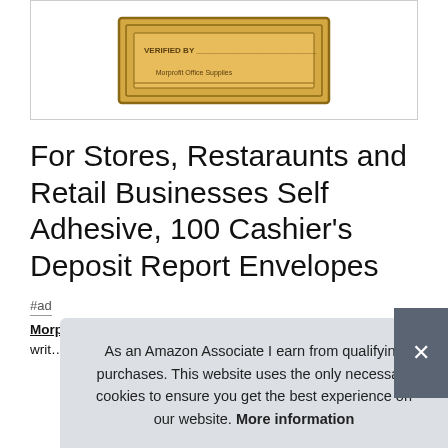[Figure (photo): Product image of a tan/kraft paper cashier deposit envelope with printed form fields including 'VERIFIED BY' line, displayed in a white bordered box]
For Stores, Restaraunts and Retail Businesses Self Adhesive, 100 Cashier's Deposit Report Envelopes
#ad
Morprofit Shop Supplies  Easy to read and fill out, and easy... writ... Car... shif... box and deposit slots.
As an Amazon Associate I earn from qualifying purchases. This website uses the only necessary cookies to ensure you get the best experience on our website. More information